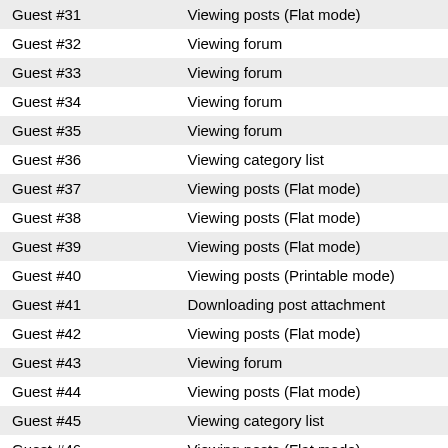| Guest | Action |
| --- | --- |
| Guest #31 | Viewing posts (Flat mode) |
| Guest #32 | Viewing forum |
| Guest #33 | Viewing forum |
| Guest #34 | Viewing forum |
| Guest #35 | Viewing forum |
| Guest #36 | Viewing category list |
| Guest #37 | Viewing posts (Flat mode) |
| Guest #38 | Viewing posts (Flat mode) |
| Guest #39 | Viewing posts (Flat mode) |
| Guest #40 | Viewing posts (Printable mode) |
| Guest #41 | Downloading post attachment |
| Guest #42 | Viewing posts (Flat mode) |
| Guest #43 | Viewing forum |
| Guest #44 | Viewing posts (Flat mode) |
| Guest #45 | Viewing category list |
| Guest #46 | Viewing posts (Flat mode) |
| Guest #47 | URL forwarding |
| Guest #48 | Viewing posts (Flat mode) |
| Guest #49 | Who's Online |